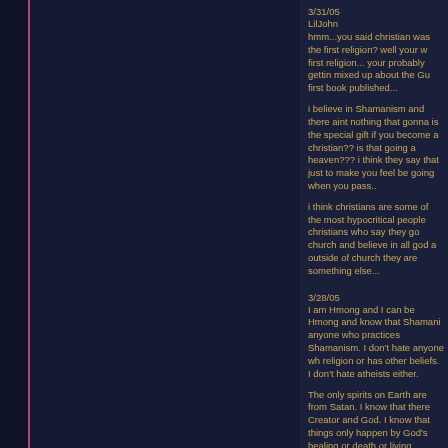3/31/05
LilJohn
hmm...you said christian was the first religion? well your w first religion... your probably gettin mixed up about the Gu first book published...
i believe in Shamanism and there aint nothing that gonna is the special gift if you become a christian?? is that going a heaven??? i think they say that just to make you feel be going when you pass..
i think christians are some of the most hypocritical people christians who say they go church and believe in all god a outside of church they are something else...
3/28/05
I am Hmong and I can be Hmong and know that Shamani anyone who practices Shamanism. I don't hate anyone wh religion or has other beliefs. I don't hate atheists either.
The only spirits on Earth are from Satan. I know that there Creator and God. I know that things only happen by God's healing or death or living. Whether someone is sick or dyi is up to God. It is not for us to know or understand why. be for our glory but we are here for His glory. Our simple min His will and divine plan for all things. We must only realize temporary. Eternal life in heaven can only be obtained thr died on the cross for EVERYONE'S sins. If you have not a personal savior and Christ, then you will not receive this g the power of spirits and believe in Go- You shu d d